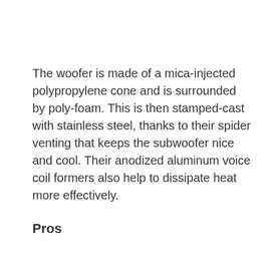The woofer is made of a mica-injected polypropylene cone and is surrounded by poly-foam. This is then stamped-cast with stainless steel, thanks to their spider venting that keeps the subwoofer nice and cool. Their anodized aluminum voice coil formers also help to dissipate heat more effectively.
Pros